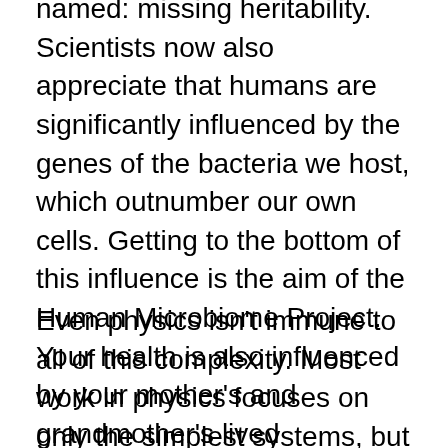named: missing heritability. Scientists now also appreciate that humans are significantly influenced by the genes of the bacteria we host, which outnumber our own cells. Getting to the bottom of this influence is the aim of the Human Microbiome Project. Your health is also influenced by your mother's and grandmother's lived experiences, including their stress levels: this is one element of what's called epigenetics.
Even physics isn't immune to all of this complexity. Most work in physics focuses on only the simplest systems, but the physical world is just as complex as living organisms. Just think of all the countless...